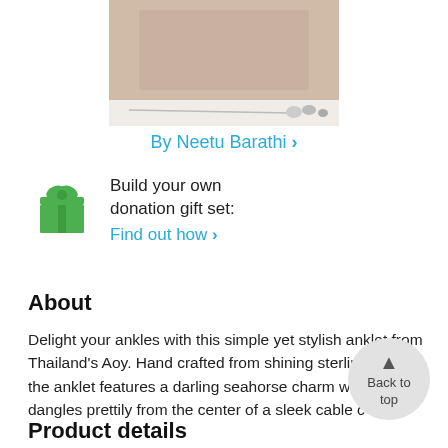[Figure (photo): A person crafting jewelry, with jewelry items visible on a table.]
By Neetu Barathi >
Build your own donation gift set: Find out how >
About
Delight your ankles with this simple yet stylish anklet from Thailand's Aoy. Hand crafted from shining sterling silver, the anklet features a darling seahorse charm which dangles prettily from the center of a sleek cable c
Product details